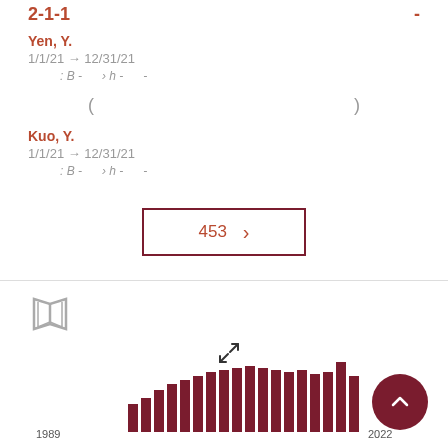2-1-1   -
Yen, Y.
1/1/21 → 12/31/21
: B -    > h -    -
(                                                    )
Kuo, Y.
1/1/21 → 12/31/21
: B -    > h -    -
453  >
[Figure (other): Book icon]
[Figure (histogram): Publication histogram 1989-2022]
[Figure (other): Expand arrows icon]
[Figure (other): Scroll to top FAB button]